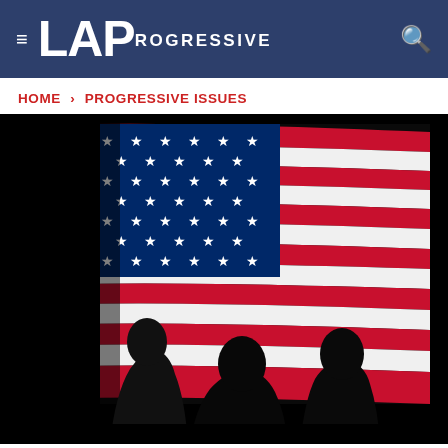≡ LAProgressive 🔍
HOME > PROGRESSIVE ISSUES
[Figure (photo): Silhouettes of people in front of a large illuminated American flag with stars and red/white stripes, against a dark background.]